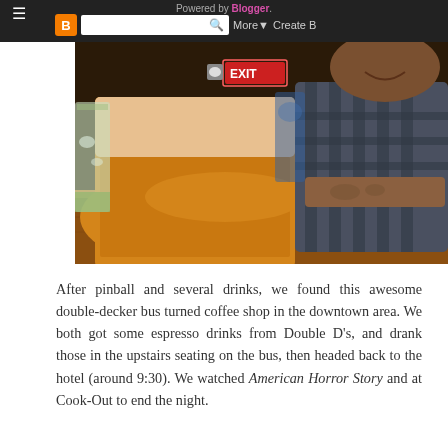Powered by Blogger. More ▾ Create B
[Figure (photo): Two people sitting at a wooden bar/table inside a venue with an EXIT sign visible in the background. One person wearing an orange/yellow knit top, the other in a plaid shirt with a tattoo visible on their arm. A drink glass is visible on the left.]
After pinball and several drinks, we found this awesome double-decker bus turned coffee shop in the downtown area. We both got some espresso drinks from Double D's, and drank those in the upstairs seating on the bus, then headed back to the hotel (around 9:30). We watched American Horror Story and at Cook-Out to end the night.